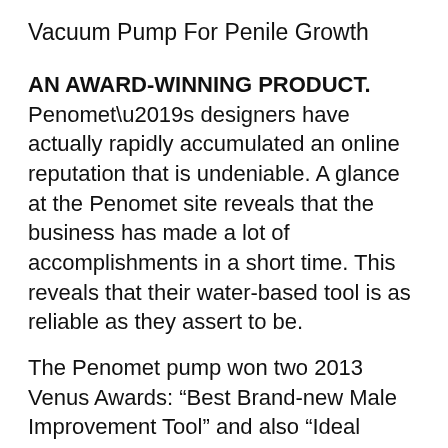Vacuum Pump For Penile Growth
AN AWARD-WINNING PRODUCT.
Penomet’s designers have actually rapidly accumulated an online reputation that is undeniable. A glance at the Penomet site reveals that the business has made a lot of accomplishments in a short time. This reveals that their water-based tool is as reliable as they assert to be.
The Penomet pump won two 2013 Venus Awards: “Best Brand-new Male Improvement Tool” and also “Ideal Brand-new Product”. As important as honors are, what matters most is the effectiveness of the item as well as the satisfaction of the customers, two aspects that have actually remained in ideal